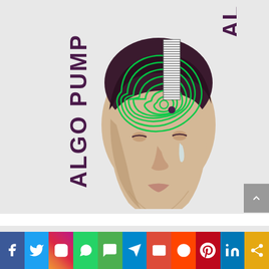[Figure (logo): ALGO PUMP logo: vertical bold purple text 'ALGO PUMP' with a rectangle/spiral graphic, alongside a vintage pop-art style illustration of a man's head with green topographic/spiral lines on the brain area, on a light gray background.]
[Figure (infographic): Social media sharing bar at the bottom with icons for Facebook, Twitter, Instagram, WhatsApp, SMS, Telegram, Email, Reddit, Pinterest, LinkedIn, and More (share).]